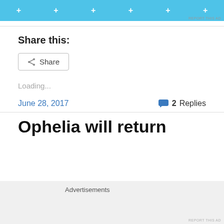[Figure (screenshot): Blue advertisement banner with plus signs and 'REPORT THIS AD' text]
Share this:
[Figure (screenshot): Share button with share icon]
Loading...
June 28, 2017
2 Replies
Ophelia will return
Advertisements